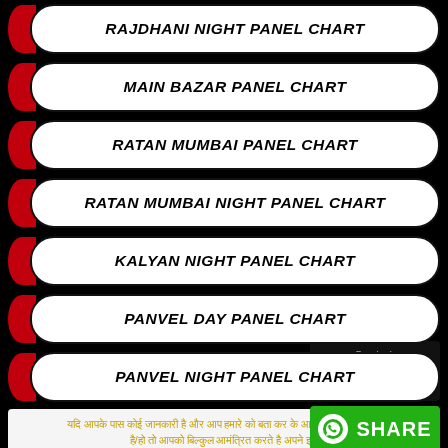RAJDHANI NIGHT PANEL CHART
MAIN BAZAR PANEL CHART
RATAN MUMBAI PANEL CHART
RATAN MUMBAI NIGHT PANEL CHART
KALYAN NIGHT PANEL CHART
PANVEL DAY PANEL CHART
PANVEL NIGHT PANEL CHART
[Figure (illustration): Android App download badge (black background with Android robot icon and 'Download our Android App' text)]
[Figure (illustration): WhatsApp Share button (green background with WhatsApp icon and 'SHARE' text)]
Hindi language promotional text about panel chart service
ONLY 11000/- MONTHLY CHARGE
CALL